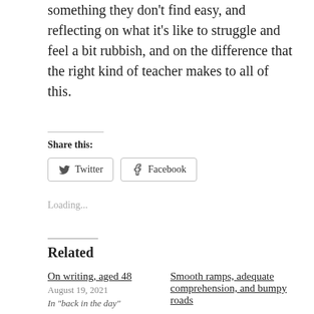something they don't find easy, and reflecting on what it's like to struggle and feel a bit rubbish, and on the difference that the right kind of teacher makes to all of this.
Share this:
[Figure (other): Twitter and Facebook share buttons]
Loading...
Related
On writing, aged 48
August 19, 2021
In "back in the day"
Smooth ramps, adequate comprehension, and bumpy roads